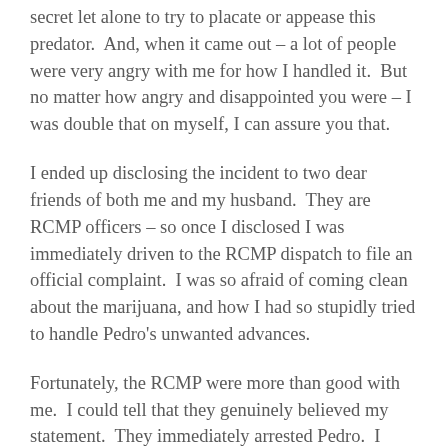secret let alone to try to placate or appease this predator.  And, when it came out – a lot of people were very angry with me for how I handled it.  But no matter how angry and disappointed you were – I was double that on myself, I can assure you that.
I ended up disclosing the incident to two dear friends of both me and my husband.  They are RCMP officers – so once I disclosed I was immediately driven to the RCMP dispatch to file an official complaint.  I was so afraid of coming clean about the marijuana, and how I had so stupidly tried to handle Pedro's unwanted advances.
Fortunately, the RCMP were more than good with me.  I could tell that they genuinely believed my statement.  They immediately arrested Pedro.  I